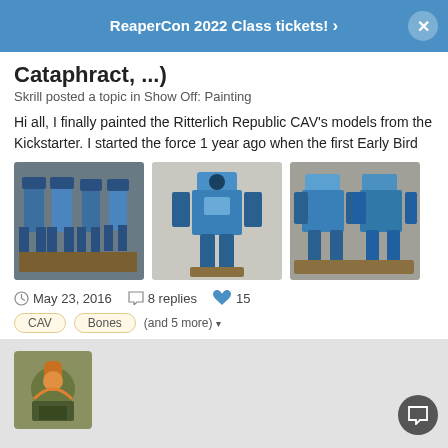ReaperCon 2022 Class tickets! ›
Cataphract, ...)
Skrill posted a topic in Show Off: Painting
Hi all, I finally painted the Ritterlich Republic CAV's models from the Kickstarter. I started the force 1 year ago when the first Early Bird
[Figure (photo): Three photos of blue painted sci-fi mech miniatures (CAV models) shown side by side]
May 23, 2016   8 replies   15
CAV   Bones   (and 5 more)
[Figure (photo): User avatar thumbnail showing a painted miniature]
Forums   Unread   Sign In   Sign Up   More